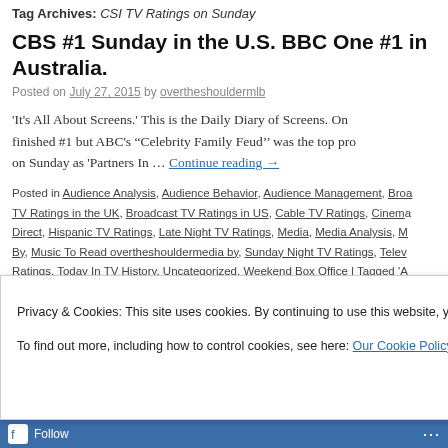Tag Archives: CSI TV Ratings on Sunday
CBS #1 Sunday in the U.S. BBC One #1 in Australia.
Posted on July 27, 2015 by overtheshouldermlb
'It's All About Screens.' This is the Daily Diary of Screens. On finished #1 but ABC's "Celebrity Family Feud'' was the top pr on Sunday as 'Partners In … Continue reading →
Posted in Audience Analysis, Audience Behavior, Audience Management, Broadcast TV Ratings in the UK, Broadcast TV Ratings in US, Cable TV Ratings, Cinema Direct, Hispanic TV Ratings, Late Night TV Ratings, Media, Media Analysis, Music To Read overtheshouldermedia by, Sunday Night TV Ratings, Television Ratings, Today In TV History, Uncategorized, Weekend Box Office | Tagged 'A Weekend 24-26 July 2015, 'Celebrity Family Feud' top program, 'Gold Cup' T
Privacy & Cookies: This site uses cookies. By continuing to use this website, you agree to their use.
To find out more, including how to control cookies, see here: Our Cookie Policy